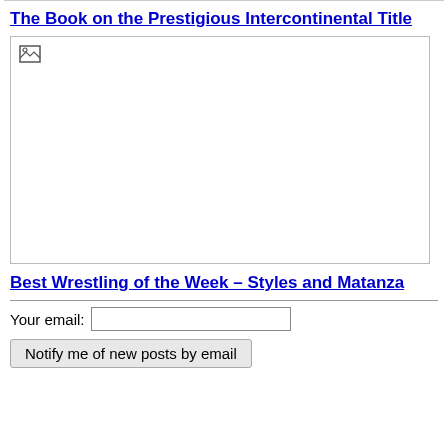The Book on the Prestigious Intercontinental Title
[Figure (photo): Image placeholder with broken image icon in top-left corner, large white rectangle with border]
Best Wrestling of the Week – Styles and Matanza
Your email:
Notify me of new posts by email